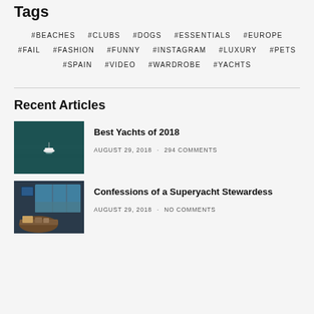Tags
#BEACHES  #CLUBS  #DOGS  #ESSENTIALS  #EUROPE  #FAIL  #FASHION  #FUNNY  #INSTAGRAM  #LUXURY  #PETS  #SPAIN  #VIDEO  #WARDROBE  #YACHTS
Recent Articles
[Figure (photo): Aerial view of a white yacht on dark teal water]
Best Yachts of 2018
AUGUST 29, 2018 · 294 COMMENTS
[Figure (photo): Interior of a superyacht showing navigation equipment and a curved desk with ocean view through windows]
Confessions of a Superyacht Stewardess
AUGUST 29, 2018 · NO COMMENTS